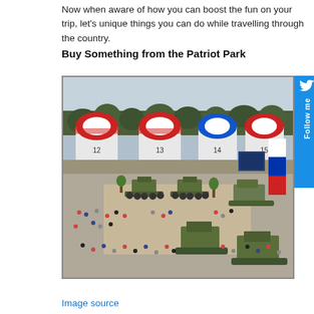Now when aware of how you can boost the fun on your trip, let's unique things you can do while travelling through the country.
Buy Something from the Patriot Park
[Figure (photo): Aerial/elevated view of Patriot Park military exhibition in Russia, showing numbered pavilion tents (12, 13, 14, 15) with red-white-blue domed roofs, military vehicles including tanks and armored vehicles on display, crowds of visitors walking around the outdoor exhibition grounds, trees and green areas visible, blue sky in background.]
Image source